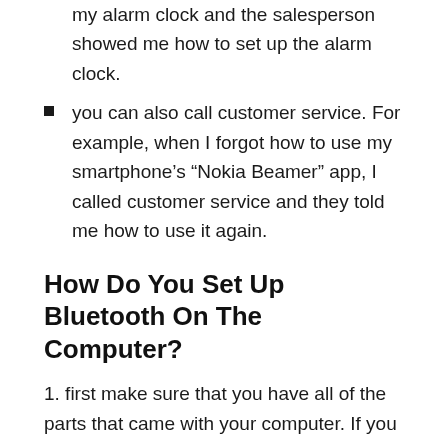device. For example, I went to the store where I bought my alarm clock and the salesperson showed me how to set up the alarm clock.
you can also call customer service. For example, when I forgot how to use my smartphone’s “Nokia Beamer” app, I called customer service and they told me how to use it again.
How Do You Set Up Bluetooth On The Computer?
1. first make sure that you have all of the parts that came with your computer. If you don’t then go back to the store where you bought your computer and get them from them. If you don’t know what the parts are then ask the salesperson there.